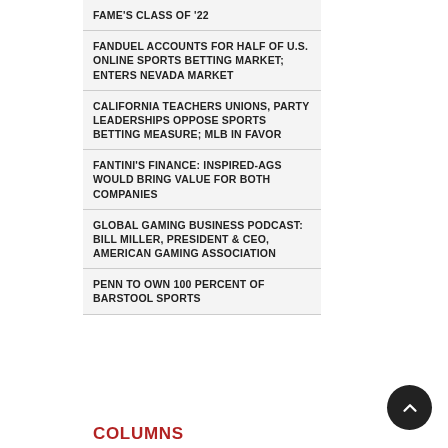FAME'S CLASS OF '22
FANDUEL ACCOUNTS FOR HALF OF U.S. ONLINE SPORTS BETTING MARKET; ENTERS NEVADA MARKET
CALIFORNIA TEACHERS UNIONS, PARTY LEADERSHIPS OPPOSE SPORTS BETTING MEASURE; MLB IN FAVOR
FANTINI'S FINANCE: INSPIRED-AGS WOULD BRING VALUE FOR BOTH COMPANIES
GLOBAL GAMING BUSINESS PODCAST: BILL MILLER, PRESIDENT & CEO, AMERICAN GAMING ASSOCIATION
PENN TO OWN 100 PERCENT OF BARSTOOL SPORTS
COLUMNS